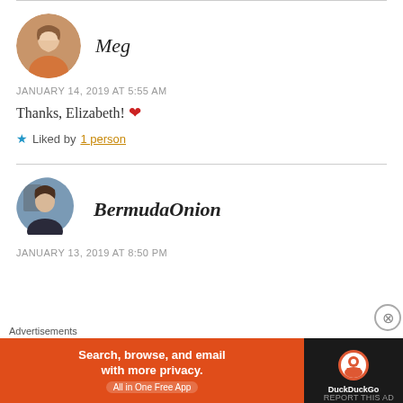Meg
JANUARY 14, 2019 AT 5:55 AM
Thanks, Elizabeth! ❤
★ Liked by 1 person
BermudaOnion
JANUARY 13, 2019 AT 8:50 PM
Advertisements
Search, browse, and email with more privacy. All in One Free App
DuckDuckGo